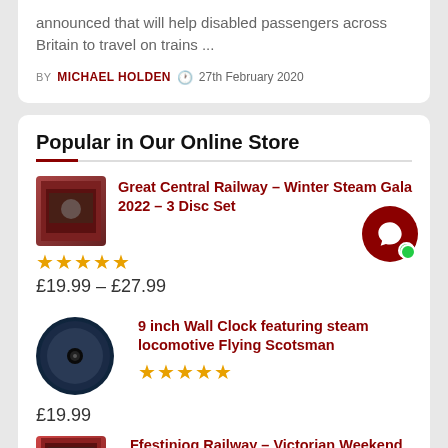announced that will help disabled passengers across Britain to travel on trains ...
BY MICHAEL HOLDEN  27th February 2020
Popular in Our Online Store
Great Central Railway - Winter Steam Gala 2022 - 3 Disc Set
★★★★★ £19.99 – £27.99
9 inch Wall Clock featuring steam locomotive Flying Scotsman
★★★★★ £19.99
Ffestiniog Railway - Victorian Weekend 2019 - 3 Disc Set